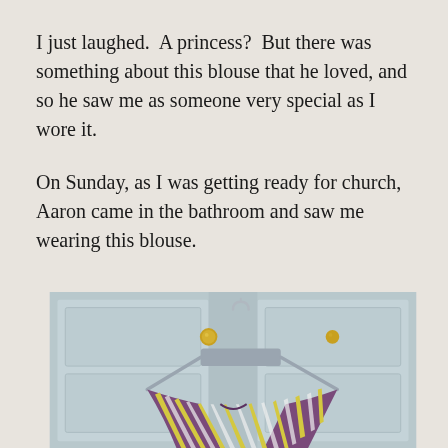I just laughed.  A princess?  But there was something about this blouse that he loved, and so he saw me as someone very special as I wore it.
On Sunday, as I was getting ready for church, Aaron came in the bathroom and saw me wearing this blouse.
[Figure (photo): A patterned blouse with purple, yellow, and white stripes hanging on a gray plastic hanger on a light blue paneled door with gold cabinet knobs.]